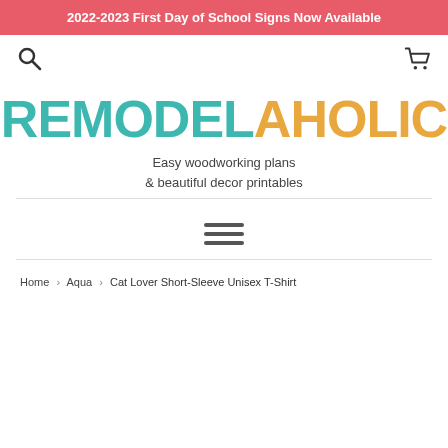2022-2023 First Day of School Signs Now Available
[Figure (logo): REMODELAHOLIC logo with REMODEL in teal and AHOLIC in gold/yellow]
Easy woodworking plans & beautiful decor printables
[Figure (other): Hamburger menu icon with three horizontal lines]
Home › Aqua › Cat Lover Short-Sleeve Unisex T-Shirt